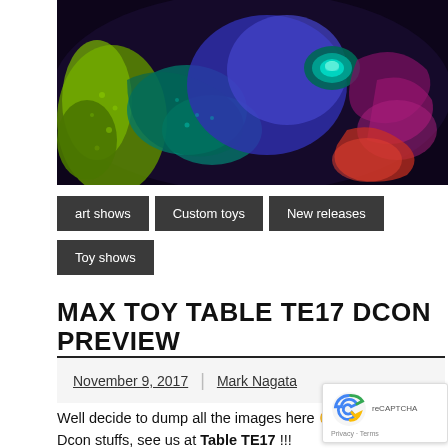[Figure (photo): Close-up photo of a fluorescent/UV-lit octopus toy or sculpture showing tentacles and eye with purple, blue, green, and red colors against a dark background]
art shows
Custom toys
New releases
Toy shows
MAX TOY TABLE TE17 DCON PREVIEW
November 9, 2017 | Mark Nagata
Well decide to dump all the images here 😉 Max Toy Dcon stuffs, see us at Table TE17 !!!